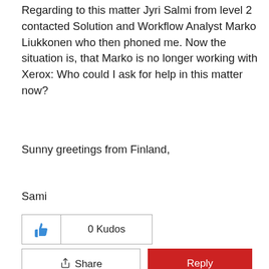Regarding to this matter Jyri Salmi from level 2 contacted Solution and Workflow Analyst Marko Liukkonen who then phoned me. Now the situation is, that Marko is no longer working with Xerox: Who could I ask for help in this matter now?
Sunny greetings from Finland,
Sami
0 Kudos
Share
Reply
PerF-Xerox
Xerox Analyst